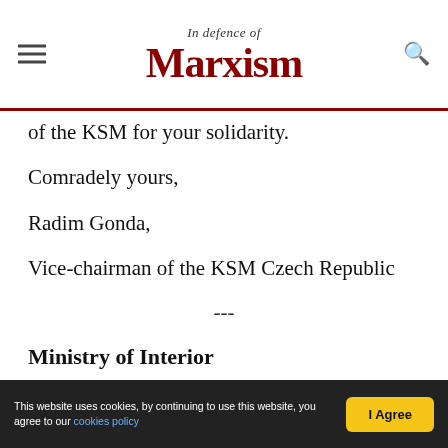In Defence of Marxism
of the KSM for your solidarity.
Comradely yours,
Radim Gonda,
Vice-chairman of the KSM Czech Republic
---
Ministry of Interior
Department of Elections and Association
140 21 Praha 4, náme(stí Hrdinu* 3
Ref: VS-6500/SDR/1-2006